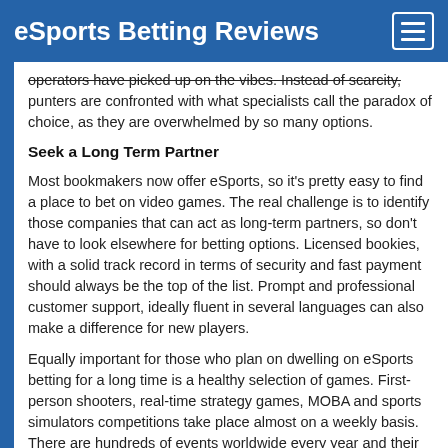eSports Betting Reviews
operators have picked up on the vibes. Instead of scarcity, punters are confronted with what specialists call the paradox of choice, as they are overwhelmed by so many options.
Seek a Long Term Partner
Most bookmakers now offer eSports, so it's pretty easy to find a place to bet on video games. The real challenge is to identify those companies that can act as long-term partners, so don't have to look elsewhere for betting options. Licensed bookies, with a solid track record in terms of security and fast payment should always be the top of the list. Prompt and professional customer support, ideally fluent in several languages can also make a difference for new players.
Equally important for those who plan on dwelling on eSports betting for a long time is a healthy selection of games. First-person shooters, real-time strategy games, MOBA and sports simulators competitions take place almost on a weekly basis. There are hundreds of events worldwide every year and their number is only expected to grow. To make the most of these opportunities, punters should find bookmakers that cover all or